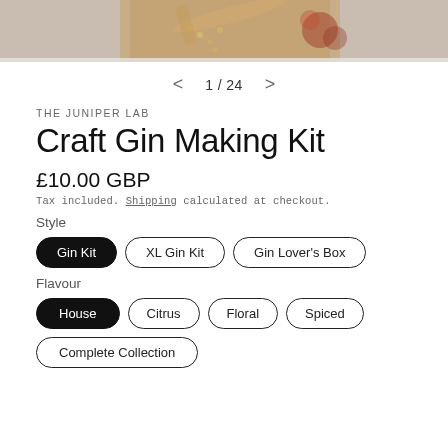[Figure (photo): Top portion of a product image showing spices and botanicals on a wooden board against a grey stone background, partially cropped]
1 / 24
THE JUNIPER LAB
Craft Gin Making Kit
£10.00 GBP
Tax included. Shipping calculated at checkout.
Style
Gin Kit
XL Gin Kit
Gin Lover's Box
Flavour
House
Citrus
Floral
Spiced
Complete Collection